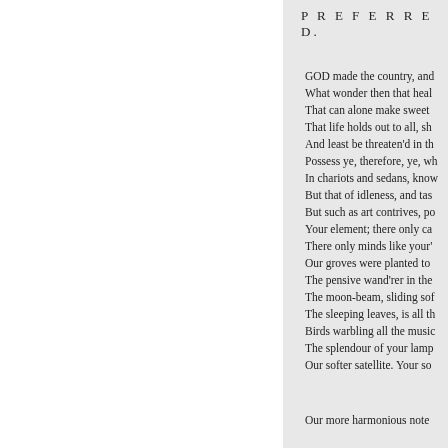P R E F E R R E D.
GOD made the country, and
What wonder then that heal
That can alone make sweet
That life holds out to all, sh
And least be threaten'd in th
Possess ye, therefore, ye, wh
In chariots and sedans, know
But that of idleness, and tas
But such as art contrives, po
Your element; there only ca
There only minds like your'
Our groves were planted to
The pensive wand'rer in the
The moon-beam, sliding sof
The sleeping leaves, is all th
Birds warbling all the music
The splendour of your lamp
Our softer satellite. Your so
Our more harmonious note